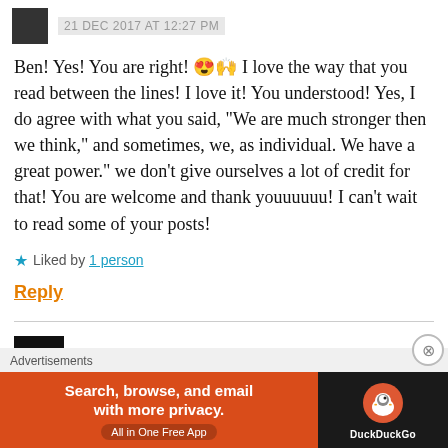21 DEC 2017 AT 12:27 PM
Ben! Yes! You are right! 😍🙌 I love the way that you read between the lines! I love it! You understood! Yes, I do agree with what you said, “We are much stronger then we think,” and sometimes, we, as individual. We have a great power.” we don’t give ourselves a lot of credit for that! You are welcome and thank youuuuuu! I can’t wait to read some of your posts!
Liked by 1 person
Reply
Ben Aoiba
Advertisements
[Figure (screenshot): DuckDuckGo advertisement banner: orange section with text 'Search, browse, and email with more privacy. All in One Free App' and dark section with DuckDuckGo logo]